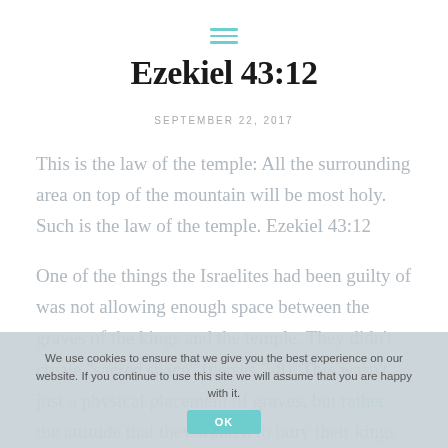[Figure (other): Hamburger menu icon with three horizontal teal/cyan lines]
Ezekiel 43:12
SEPTEMBER 22, 2017
This is the law of the temple: All the surrounding area on top of the mountain will be most holy. Such is the law of the temple. Ezekiel 43:12
One of the things the Israelites had been guilty of was not allowing enough space between the graves of the kings and the temple. They didn't create "sacred space" (verses 7-8). This wasn't just a physical placement of graves, but rather the attitude that they wanted to bury their kings close to the temple, close
We use cookies to ensure that we give you the best experience on our website. If you continue to use this site we will assume that you are happy with it.
OK